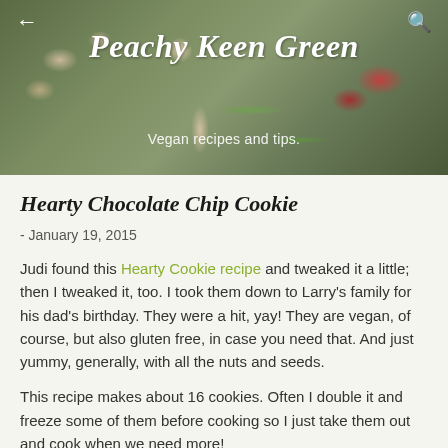[Figure (photo): Food blog header banner with nuts, strawberry, rosemary herb on wooden surface background]
Peachy Keen Green
Vegan recipes and tips.
Hearty Chocolate Chip Cookie
- January 19, 2015
Judi found this Hearty Cookie recipe and tweaked it a little; then I tweaked it, too. I took them down to Larry's family for his dad's birthday. They were a hit, yay! They are vegan, of course, but also gluten free, in case you need that. And just yummy, generally, with all the nuts and seeds.
This recipe makes about 16 cookies. Often I double it and freeze some of them before cooking so I just take them out and cook when we need more!
Ingredients